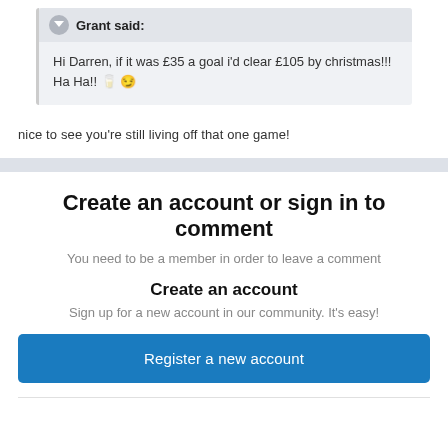Grant said: Hi Darren, if it was £35 a goal i'd clear £105 by christmas!!! Ha Ha!!
nice to see you're still living off that one game!
Create an account or sign in to comment
You need to be a member in order to leave a comment
Create an account
Sign up for a new account in our community. It's easy!
Register a new account